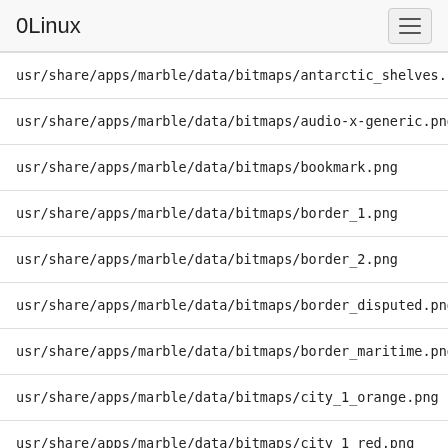0Linux
usr/share/apps/marble/data/bitmaps/antarctic_shelves.p
usr/share/apps/marble/data/bitmaps/audio-x-generic.png
usr/share/apps/marble/data/bitmaps/bookmark.png
usr/share/apps/marble/data/bitmaps/border_1.png
usr/share/apps/marble/data/bitmaps/border_2.png
usr/share/apps/marble/data/bitmaps/border_disputed.png
usr/share/apps/marble/data/bitmaps/border_maritime.png
usr/share/apps/marble/data/bitmaps/city_1_orange.png
usr/share/apps/marble/data/bitmaps/city_1_red.png
usr/share/apps/marble/data/bitmaps/city_1_white.png